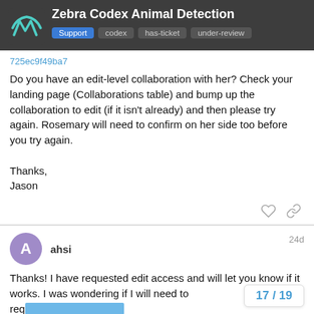Zebra Codex Animal Detection | Support | codex | has-ticket | under-review
725ec9f49ba7
Do you have an edit-level collaboration with her? Check your landing page (Collaborations table) and bump up the collaboration to edit (if it isn't already) and then please try again. Rosemary will need to confirm on her side too before you try again.

Thanks,
Jason
ahsi 24d
Thanks! I have requested edit access and will let you know if it works. I was wondering if I will need to req every owner of every zebra I try to match r